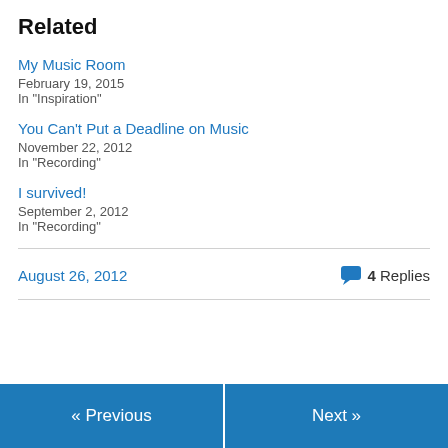Related
My Music Room
February 19, 2015
In "Inspiration"
You Can't Put a Deadline on Music
November 22, 2012
In "Recording"
I survived!
September 2, 2012
In "Recording"
August 26, 2012    4 Replies
« Previous    Next »